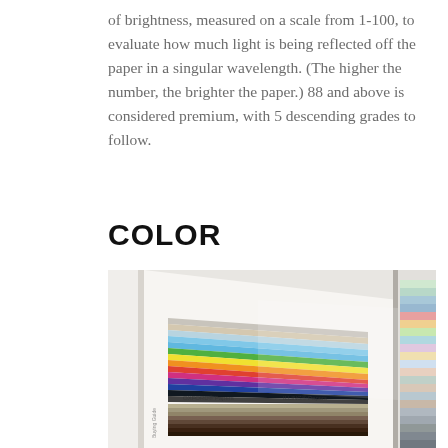of brightness, measured on a scale from 1-100, to evaluate how much light is being reflected off the paper in a singular wavelength. (The higher the number, the brighter the paper.) 88 and above is considered premium, with 5 descending grades to follow.
COLOR
[Figure (photo): A photograph of open paper sample books showing colorful paper swatches arranged in rows, including multiple brands such as OXFORD Papers and ILLING Papers, with rainbow-colored paper strips fanned out.]